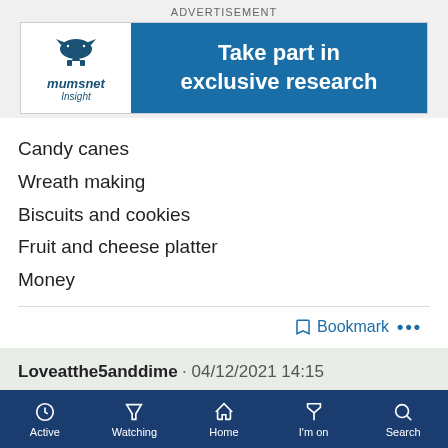[Figure (screenshot): Mumsnet Insight advertisement banner: logo on left white panel, 'Take part in exclusive research' on blue panel]
Candy canes
Wreath making
Biscuits and cookies
Fruit and cheese platter
Money
Bookmark ...
Loveatthe5anddime · 04/12/2021 14:15
@jocktamsonsbairn some great ideas thank you! 😊
@UsernameInTheTown she is pony daft and can mostly
Active  Watching  Home  I'm on  Search